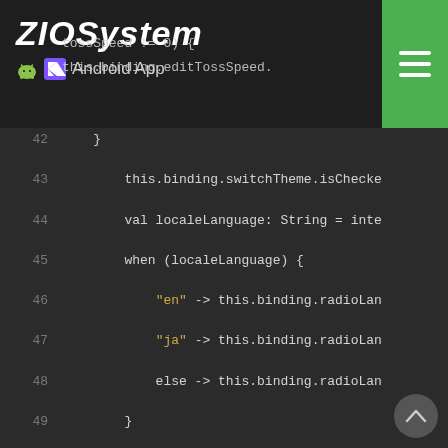ZioSystem Android App
[Figure (screenshot): Kotlin Android code editor screenshot showing lines 42-66 of source code with syntax highlighting. Code includes switchTheme, localeLanguage, when expression with 'en' and 'ja' string cases, supportActionBar?.hide(), setTouchListener() method, and a private fun setTouchListener() function body with inputMethodManager and binding.editRatio1 focus handling.]